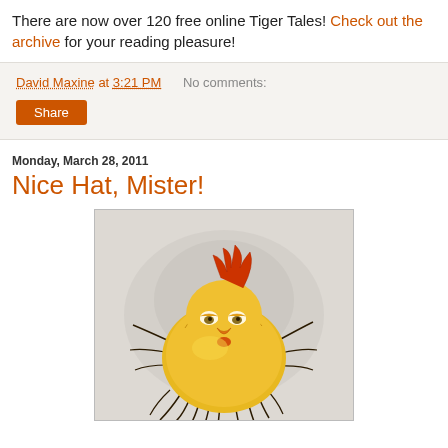There are now over 120 free online Tiger Tales! Check out the archive for your reading pleasure!
David Maxine at 3:21 PM   No comments:
Share
Monday, March 28, 2011
Nice Hat, Mister!
[Figure (illustration): Illustration of a cartoon yellow bird/rooster with fluffy feathers, sleepy eyes, and a red curved crest on its head, sitting on a textured grayish background.]